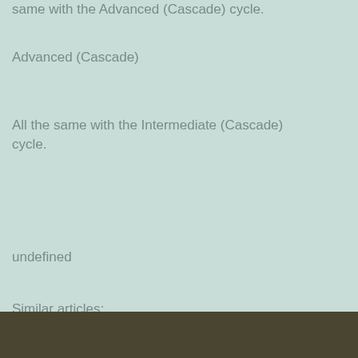same with the Advanced (Cascade) cycle.
Advanced (Cascade)
All the same with the Intermediate (Cascade) cycle.
undefined
Similar articles:
https://www.thefurthestreach.com/profile/coppspetitoj/profile
https://www.thelondonsmileproject.com/profile/medvedgopinl/profile
https://www.jitsintothesunset.com/profile/hamidlanganf/profile
https://www.newmecard.net/profile/mitiaevm urat37310/profile